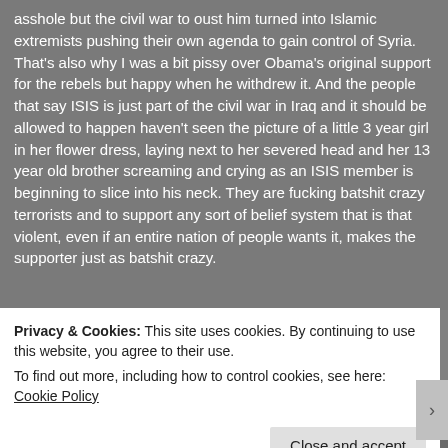asshole but the civil war to oust him turned into Islamic extremists pushing their own agenda to gain control of Syria. That's also why I was a bit pissy over Obama's original support for the rebels but happy when he withdrew it. And the people that say ISIS is just part of the civil war in Iraq and it should be allowed to happen haven't seen the picture of a little 3 year girl in her flower dress, laying next to her severed head and her 13 year old brother screaming and crying as an ISIS member is beginning to slice into his neck. They are fucking batshit crazy terrorists and to support any sort of belief system that is that violent, even if an entire nation of people wants it, makes the supporter just as batshit crazy.
Privacy & Cookies: This site uses cookies. By continuing to use this website, you agree to their use.
To find out more, including how to control cookies, see here: Cookie Policy
Close and accept